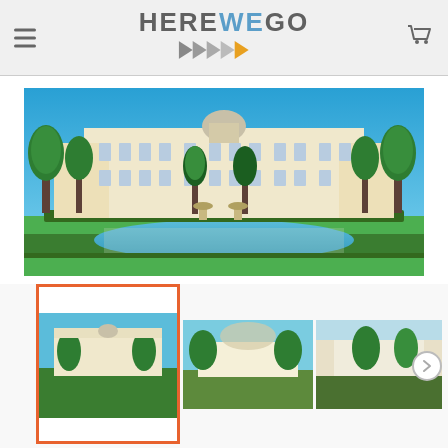HEREWEGO travel website header with hamburger menu and cart icon
[Figure (photo): Royal Palace of Madrid with gardens, fountains, green trees, blue sky]
[Figure (photo): Thumbnail strip showing three views of Royal Palace of Madrid; first thumbnail selected with orange border]